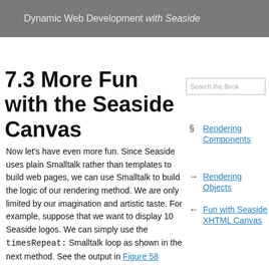Dynamic Web Development with Seaside
7.3 More Fun with the Seaside Canvas
Now let's have even more fun. Since Seaside uses plain Smalltalk rather than templates to build web pages, we can use Smalltalk to build the logic of our rendering method. We are only limited by our imagination and artistic taste. For example, suppose that we want to display 10 Seaside logos. We can simply use the timesRepeat: Smalltalk loop as shown in the next method. See the output in Figure 58
§ Rendering Components
→ Rendering Objects
← Fun with Seaside XHTML Canvas